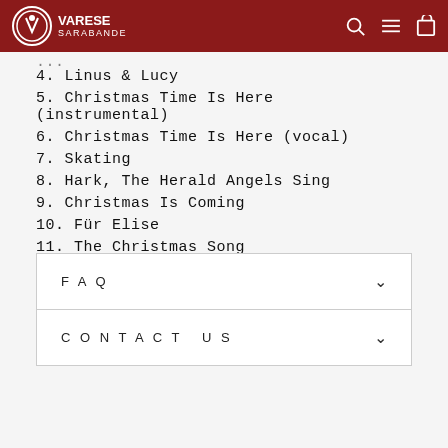VARESE SARABANDE
4. Linus & Lucy
5. Christmas Time Is Here (instrumental)
6. Christmas Time Is Here (vocal)
7. Skating
8. Hark, The Herald Angels Sing
9. Christmas Is Coming
10. Für Elise
11. The Christmas Song
12. Greensleeves
13. Great Pumpkin Waltz
14. Thanksgiving Theme
FAQ
CONTACT US